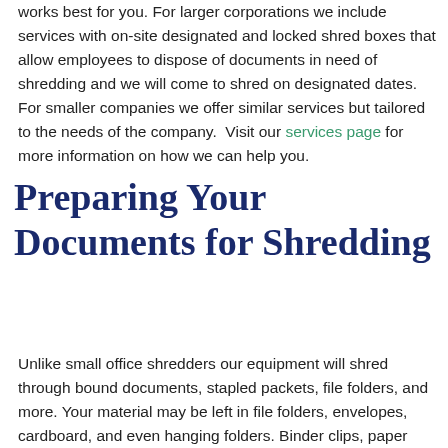works best for you. For larger corporations we include services with on-site designated and locked shred boxes that allow employees to dispose of documents in need of shredding and we will come to shred on designated dates. For smaller companies we offer similar services but tailored to the needs of the company. Visit our services page for more information on how we can help you.
Preparing Your Documents for Shredding
Unlike small office shredders our equipment will shred through bound documents, stapled packets, file folders, and more. Your material may be left in file folders, envelopes, cardboard, and even hanging folders. Binder clips, paper